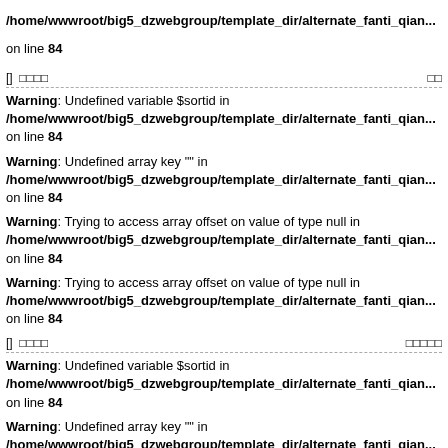/home/wwwroot/big5_dzwebgroup/template_dir/alternate_fanti_qian... on line 84
[] 0000   00
Warning: Undefined variable $sortid in /home/wwwroot/big5_dzwebgroup/template_dir/alternate_fanti_qian... on line 84
Warning: Undefined array key "" in /home/wwwroot/big5_dzwebgroup/template_dir/alternate_fanti_qian... on line 84
Warning: Trying to access array offset on value of type null in /home/wwwroot/big5_dzwebgroup/template_dir/alternate_fanti_qian... on line 84
Warning: Trying to access array offset on value of type null in /home/wwwroot/big5_dzwebgroup/template_dir/alternate_fanti_qian... on line 84
[] 0000   00000
Warning: Undefined variable $sortid in /home/wwwroot/big5_dzwebgroup/template_dir/alternate_fanti_qian... on line 84
Warning: Undefined array key "" in /home/wwwroot/big5_dzwebgroup/template_dir/alternate_fanti_qian...